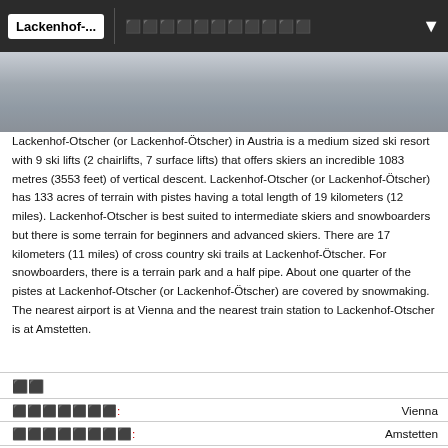Lackenhof-... | [icons] [dropdown]
[Figure (photo): Snowy mountain ski slope photograph, grey/white tones]
Lackenhof-Otscher (or Lackenhof-Ötscher) in Austria is a medium sized ski resort with 9 ski lifts (2 chairlifts, 7 surface lifts) that offers skiers an incredible 1083 metres (3553 feet) of vertical descent. Lackenhof-Otscher (or Lackenhof-Ötscher) has 133 acres of terrain with pistes having a total length of 19 kilometers (12 miles). Lackenhof-Otscher is best suited to intermediate skiers and snowboarders but there is some terrain for beginners and advanced skiers. There are 17 kilometers (11 miles) of cross country ski trails at Lackenhof-Ötscher. For snowboarders, there is a terrain park and a half pipe. About one quarter of the pistes at Lackenhof-Otscher (or Lackenhof-Ötscher) are covered by snowmaking. The nearest airport is at Vienna and the nearest train station to Lackenhof-Otscher is at Amstetten.
[icon]
[Airport label]: Vienna
[Station label]: Amstetten